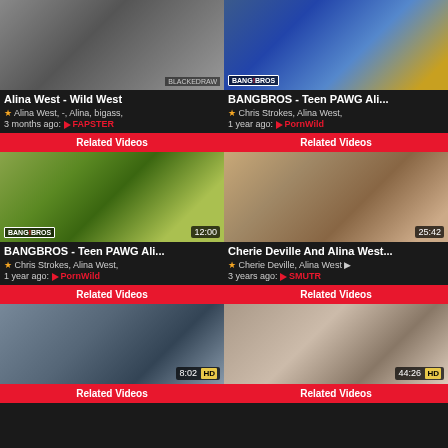[Figure (screenshot): Video thumbnail showing bedroom scene with BLACKEDRAW watermark]
Alina West - Wild West
★ Alina West, -, Alina, bigass,
3 months ago: ▶ FAPSTER
Related Videos
[Figure (screenshot): Video thumbnail showing woman in bikini next to car with BANGBROS logo]
BANGBROS - Teen PAWG Ali...
★ Chris Strokes, Alina West,
1 year ago: ▶ PornWild
Related Videos
[Figure (screenshot): Video thumbnail 12:00 showing woman in yellow bikini next to car outdoors with BANGBROS logo]
BANGBROS - Teen PAWG Ali...
★ Chris Strokes, Alina West,
1 year ago: ▶ PornWild
Related Videos
[Figure (screenshot): Video thumbnail 25:42 showing kitchen scene]
Cherie Deville And Alina West...
★ Cherie Deville, Alina West ▶
3 years ago: ▶ SMUTR
Related Videos
[Figure (screenshot): Video thumbnail 8:02 HD showing couch scene with blonde]
Related Videos
[Figure (screenshot): Video thumbnail 44:26 HD showing bedroom scene]
Related Videos